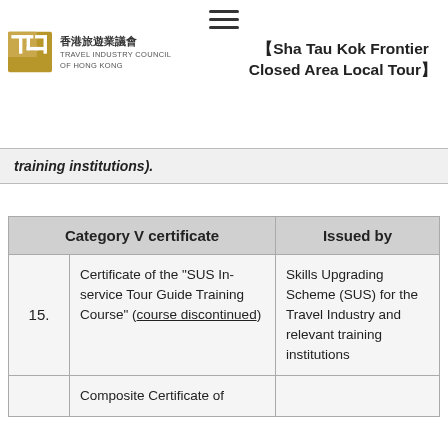Travel Industry Council of Hong Kong — 【Sha Tau Kok Frontier Closed Area Local Tour】
training institutions).
| Category V certificate | Issued by |
| --- | --- |
| 15. Certificate of the "SUS In-service Tour Guide Training Course" (course discontinued) | Skills Upgrading Scheme (SUS) for the Travel Industry and relevant training institutions |
| Composite Certificate of |  |